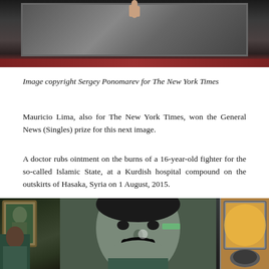[Figure (photo): Top portion of a photograph showing a hand raised, with a bus or train window frame visible, dark background suggesting interior of vehicle]
Image copyright Sergey Ponomarev for The New York Times
Mauricio Lima, also for The New York Times, won the General News (Singles) prize for this next image.
A doctor rubs ointment on the burns of a 16-year-old fighter for the so-called Islamic State, at a Kurdish hospital compound on the outskirts of Hasaka, Syria on 1 August, 2015.
[Figure (photo): A doctor treating a patient, with a large portrait poster of a man with a thick mustache visible in the background, framed portrait of a soldier on the left, and a window on the right]